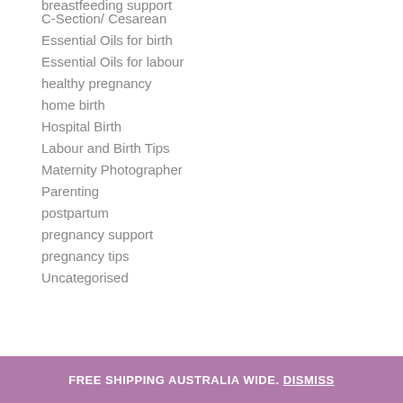breastfeeding support
C-Section/ Cesarean
Essential Oils for birth
Essential Oils for labour
healthy pregnancy
home birth
Hospital Birth
Labour and Birth Tips
Maternity Photographer
Parenting
postpartum
pregnancy support
pregnancy tips
Uncategorised
FREE SHIPPING AUSTRALIA WIDE. Dismiss